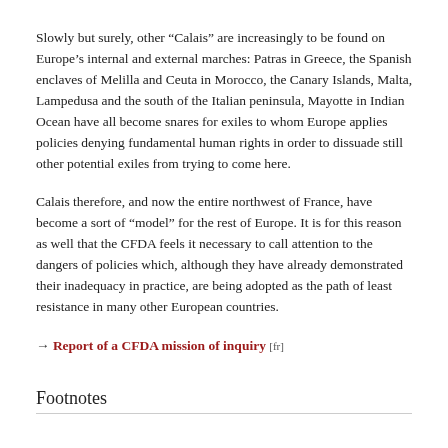Slowly but surely, other “Calais” are increasingly to be found on Europe’s internal and external marches: Patras in Greece, the Spanish enclaves of Melilla and Ceuta in Morocco, the Canary Islands, Malta, Lampedusa and the south of the Italian peninsula, Mayotte in Indian Ocean have all become snares for exiles to whom Europe applies policies denying fundamental human rights in order to dissuade still other potential exiles from trying to come here.
Calais therefore, and now the entire northwest of France, have become a sort of “model” for the rest of Europe. It is for this reason as well that the CFDA feels it necessary to call attention to the dangers of policies which, although they have already demonstrated their inadequacy in practice, are being adopted as the path of least resistance in many other European countries.
→ Report of a CFDA mission of inquiry [fr]
Footnotes